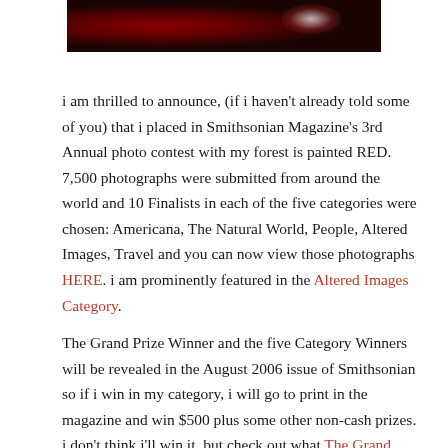[Figure (photo): A dark red and black abstract photograph, likely a forest scene painted red — partial view cropped at top of page]
i am thrilled to announce, (if i haven't already told some of you) that i placed in Smithsonian Magazine's 3rd Annual photo contest with my forest is painted RED. 7,500 photographs were submitted from around the world and 10 Finalists in each of the five categories were chosen: Americana, The Natural World, People, Altered Images, Travel and you can now view those photographs HERE. i am prominently featured in the Altered Images Category.
The Grand Prize Winner and the five Category Winners will be revealed in the August 2006 issue of Smithsonian so if i win in my category, i will go to print in the magazine and win $500 plus some other non-cash prizes. i don't think i'll win it, but check out what The Grand Prize is — no matter what happens